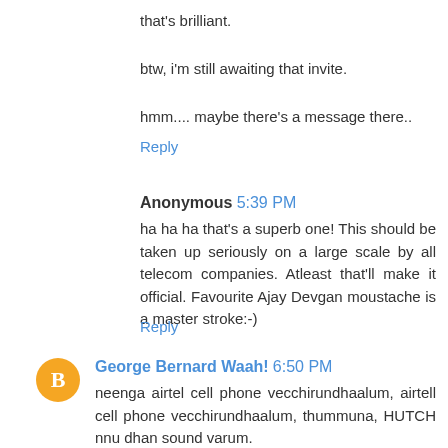that's brilliant.
btw, i'm still awaiting that invite.
hmm.... maybe there's a message there..
Reply
Anonymous 5:39 PM
ha ha ha that's a superb one! This should be taken up seriously on a large scale by all telecom companies. Atleast that'll make it official. Favourite Ajay Devgan moustache is a master stroke:-)
Reply
George Bernard Waah! 6:50 PM
neenga airtel cell phone vecchirundhaalum, airtell cell phone vecchirundhaalum, thummuna, HUTCH nnu dhan sound varum.